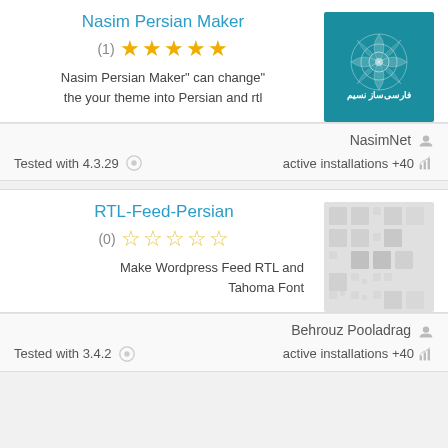Nasim Persian Maker
(1) ★★★★★
Nasim Persian Maker" can change" the your theme into Persian and rtl
[Figure (illustration): Teal background with Persian ornamental pattern and text فارسی‌ساز نسیم]
NasimNet
Tested with 4.3.29  active installations +40
RTL-Feed-Persian
(0) ☆☆☆☆☆
Make Wordpress Feed RTL and Tahoma Font
[Figure (illustration): Grey placeholder grid/checkbox pattern]
Behrouz Pooladrag
Tested with 3.4.2  active installations +40